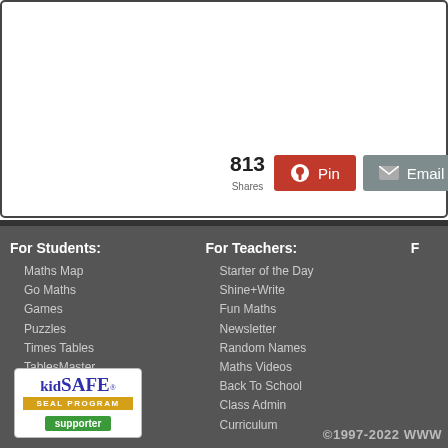813 Shares
Pin
Email
For Students:
Maths Map
Go Maths
Games
Puzzles
Times Tables
TablesMaster
iPad Maths
Investigations
Exam Questions
For Teachers:
Starter of the Day
Shine+Write
Fun Maths
Newsletter
Random Names
Maths Videos
Back To School
Class Admin
Curriculum
[Figure (logo): kidSAFE SEAL PROGRAM supporter badge]
©1997-2022  WWW